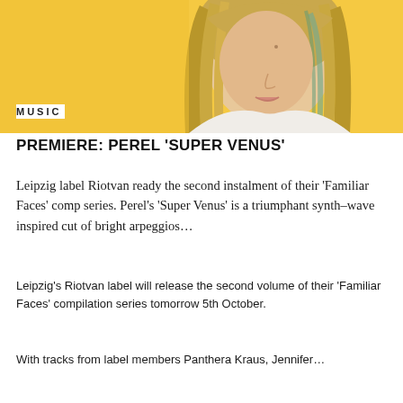[Figure (photo): Photo of a young woman with long blonde hair, wearing a white top, against a warm yellow/golden background. She is looking slightly downward. The image is cropped to show face and upper body.]
MUSIC
PREMIERE: PEREL ‘SUPER VENUS’
Leipzig label Riotvan ready the second instalment of their ‘Familiar Faces’ comp series. Perel’s ‘Super Venus’ is a triumphant synth–wave inspired cut of bright arpeggios…
Leipzig’s Riotvan label will release the second volume of their ‘Familiar Faces’ compilation series tomorrow 5th October.
With tracks from label members Panthera Kraus, Jennifer…